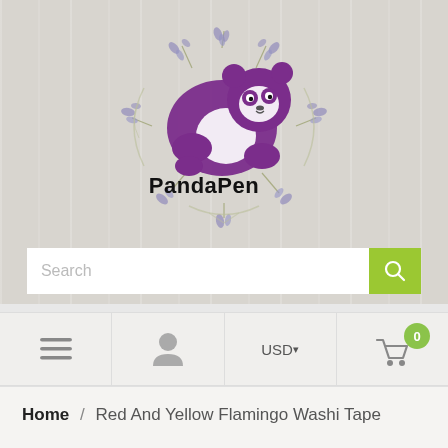[Figure (logo): PandaPen logo: a purple panda illustration surrounded by a lavender floral wreath, with the text 'PandaPen' below the panda in black bold font]
Search
USD
0
Home / Red And Yellow Flamingo Washi Tape